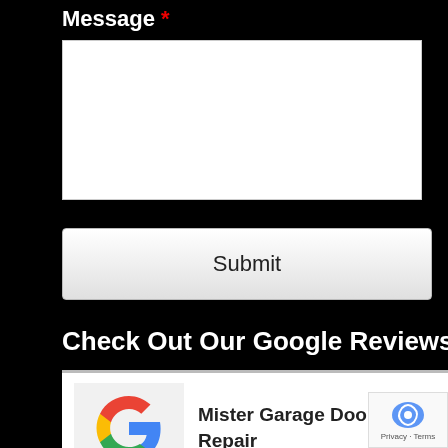Message *
[Figure (screenshot): White empty textarea input box for message field]
[Figure (screenshot): Submit button with gradient background]
Check Out Our Google Reviews
[Figure (screenshot): Google reviews widget showing Mister Garage Door Repair with 4.9 stars based on 73 user reviews, Google G logo displayed]
4.9 Stars - Based on 73 User Reviews